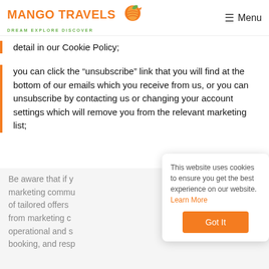MANGO TRAVELS — DREAM EXPLORE DISCOVER | Menu
detail in our Cookie Policy;
you can click the “unsubscribe” link that you will find at the bottom of our emails which you receive from us, or you can unsubscribe by contacting us or changing your account settings which will remove you from the relevant marketing list;
Be aware that if y... marketing commu... of tailored offers... from marketing c... operational and s... booking, and resp...
This website uses cookies to ensure you get the best experience on our website. Learn More
Got It